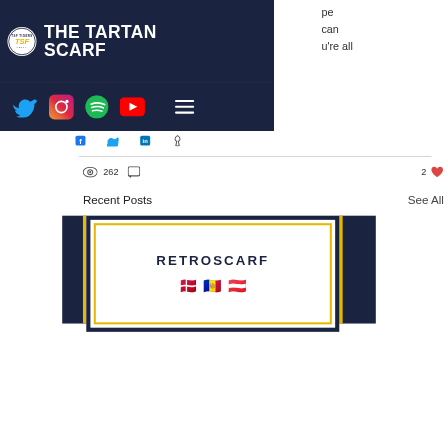[Figure (screenshot): The Tartan Scarf website header with dark navy background, circular logo on left, bold white text 'THE TARTAN SCARF', and social media icons (Twitter, Instagram, Spotify, YouTube, hamburger menu)]
pe
can
u're all
[Figure (infographic): Share icons row: Facebook, Twitter, LinkedIn, link/chain icon]
262
2
Recent Posts
See All
[Figure (screenshot): RETROSCARF post card with navy border, yellow inner border, text 'RETROSCARF' and three flag emojis (Denmark, Andorra, Austria)]